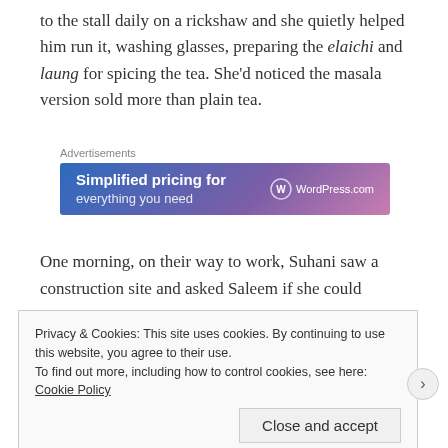to the stall daily on a rickshaw and she quietly helped him run it, washing glasses, preparing the elaichi and laung for spicing the tea. She'd noticed the masala version sold more than plain tea.
[Figure (screenshot): WordPress.com advertisement banner with gradient background showing 'Simplified pricing for...' text and WordPress.com logo]
One morning, on their way to work, Suhani saw a construction site and asked Saleem if she could
Privacy & Cookies: This site uses cookies. By continuing to use this website, you agree to their use. To find out more, including how to control cookies, see here: Cookie Policy
Close and accept